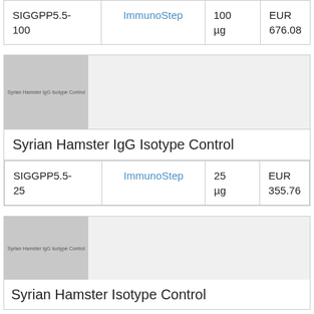| Product | Supplier | Amount | Price |
| --- | --- | --- | --- |
| SIGGPP5.5-100 | ImmunoStep | 100 µg | EUR 676.08 |
[Figure (photo): Syrian Hamster IgG Isotype Control product image (gray placeholder)]
Syrian Hamster IgG Isotype Control
| Product | Supplier | Amount | Price |
| --- | --- | --- | --- |
| SIGGPP5.5-25 | ImmunoStep | 25 µg | EUR 355.76 |
[Figure (photo): Syrian Hamster IgG Isotype Control product image (gray placeholder) - second card]
Syrian Hamster Isotype Control (partial, cropped)